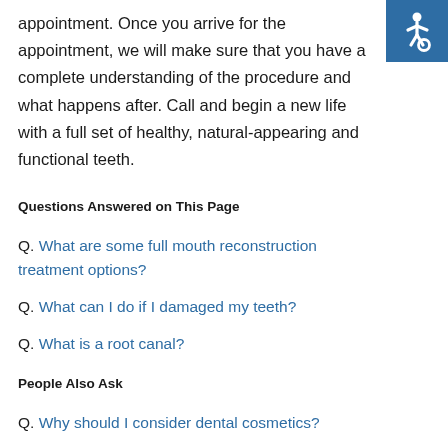[Figure (logo): Accessibility icon — white wheelchair symbol on teal/dark blue square background, top-right corner]
appointment. Once you arrive for the appointment, we will make sure that you have a complete understanding of the procedure and what happens after. Call and begin a new life with a full set of healthy, natural-appearing and functional teeth.
Questions Answered on This Page
Q. What are some full mouth reconstruction treatment options?
Q. What can I do if I damaged my teeth?
Q. What is a root canal?
People Also Ask
Q. Why should I consider dental cosmetics?